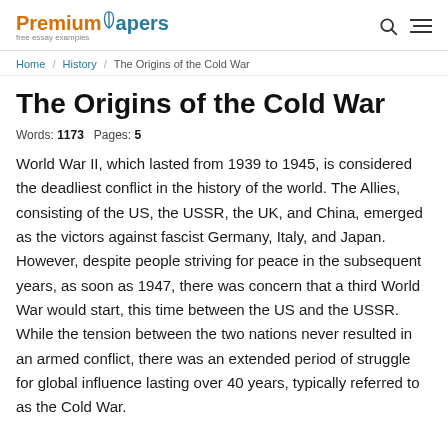Premium Papers – free essay examples
Home / History / The Origins of the Cold War
The Origins of the Cold War
Words: 1173   Pages: 5
World War II, which lasted from 1939 to 1945, is considered the deadliest conflict in the history of the world. The Allies, consisting of the US, the USSR, the UK, and China, emerged as the victors against fascist Germany, Italy, and Japan. However, despite people striving for peace in the subsequent years, as soon as 1947, there was concern that a third World War would start, this time between the US and the USSR. While the tension between the two nations never resulted in an armed conflict, there was an extended period of struggle for global influence lasting over 40 years, typically referred to as the Cold War.